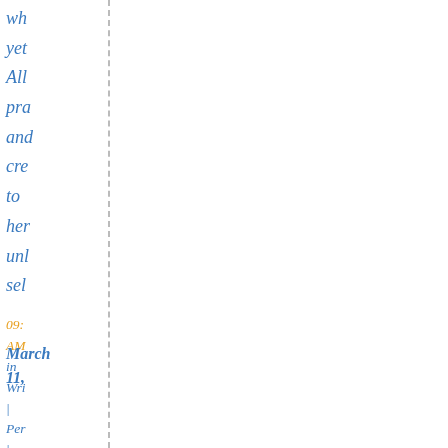wh
yet
All
pra
and
cre
to
her
unl
sel
09:
AM
in
Wri
|
Per
|
Co
(12
[Figure (logo): Blue crescent/C-shaped logo with underline]
March
11,